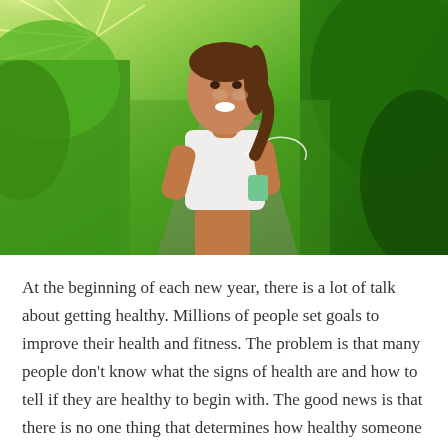[Figure (photo): A smiling woman running outdoors on a tree-lined path, wearing a white tank top and earphones, holding a small green device, with bright sunlight filtering through green foliage in the background.]
At the beginning of each new year, there is a lot of talk about getting healthy. Millions of people set goals to improve their health and fitness. The problem is that many people don't know what the signs of health are and how to tell if they are healthy to begin with. The good news is that there is no one thing that determines how healthy someone is. Rather, it's a variety of factors that come together that determine their